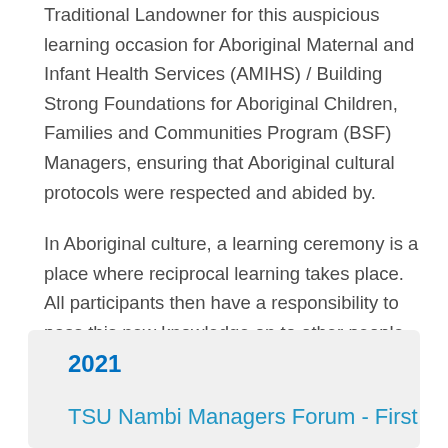Traditional Landowner for this auspicious learning occasion for Aboriginal Maternal and Infant Health Services (AMIHS) / Building Strong Foundations for Aboriginal Children, Families and Communities Program (BSF) Managers, ensuring that Aboriginal cultural protocols were respected and abided by.
In Aboriginal culture, a learning ceremony is a place where reciprocal learning takes place. All participants then have a responsibility to pass this new knowledge on to other people as the power of the knowledge is to be shared, not kept by one person.
2021
TSU Nambi Managers Forum - First